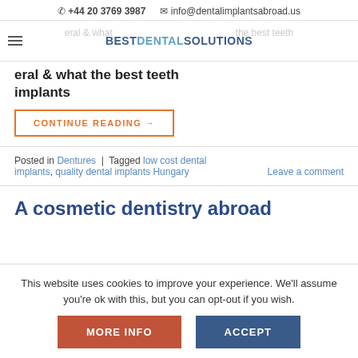📞 +44 20 3769 3987   ✉ info@dentalimplantsabroad.us
[Figure (logo): BESTDENTALSOLUTIONS logo with navigation bar and hamburger menu]
eral & what … the best teeth implants
CONTINUE READING →
Posted in Dentures | Tagged low cost dental implants, quality dental implants Hungary    Leave a comment
A cosmetic dentistry abroad
This website uses cookies to improve your experience. We'll assume you're ok with this, but you can opt-out if you wish.
MORE INFO   ACCEPT